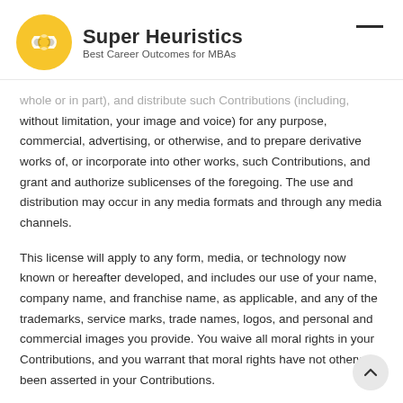Super Heuristics — Best Career Outcomes for MBAs
whole or in part), and distribute such Contributions (including, without limitation, your image and voice) for any purpose, commercial, advertising, or otherwise, and to prepare derivative works of, or incorporate into other works, such Contributions, and grant and authorize sublicenses of the foregoing. The use and distribution may occur in any media formats and through any media channels.
This license will apply to any form, media, or technology now known or hereafter developed, and includes our use of your name, company name, and franchise name, as applicable, and any of the trademarks, service marks, trade names, logos, and personal and commercial images you provide. You waive all moral rights in your Contributions, and you warrant that moral rights have not otherwise been asserted in your Contributions.